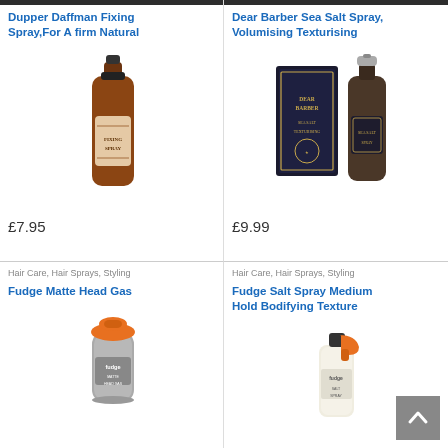Dupper Daffman Fixing Spray,For A firm Natural
[Figure (photo): Brown amber spray bottle with ornate vintage label reading 'FIXING SPRAY']
£7.95
Dear Barber Sea Salt Spray, Volumising Texturising
[Figure (photo): Dark navy box and dark brown glass spray bottle with gold lettering, Dear Barber Sea Salt Volumising Texturising Spray]
£9.99
Hair Care, Hair Sprays, Styling
Fudge Matte Head Gas
[Figure (photo): Grey aerosol can with orange cap, Fudge Matte Head Gas]
Hair Care, Hair Sprays, Styling
Fudge Salt Spray Medium Hold Bodifying Texture
[Figure (photo): Clear plastic spray bottle with orange trigger cap, Fudge Salt Spray]